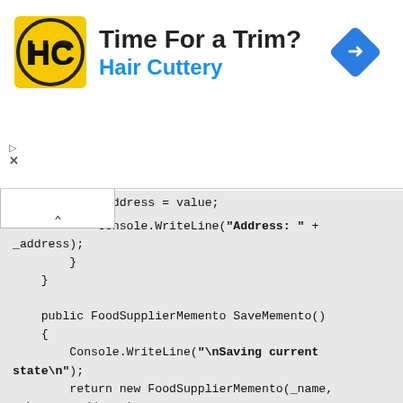[Figure (infographic): Advertisement banner for Hair Cuttery with logo, text 'Time For a Trim?' and 'Hair Cuttery' in blue, and a blue diamond navigation arrow icon.]
_address = value;
            Console.WriteLine("Address: " + _address);
        }
    }

    public FoodSupplierMemento SaveMemento()
    {
        Console.WriteLine("\nSaving current state\n");
        return new FoodSupplierMemento(_name, _phone, _address);
    }

    public void RestoreMemento(FoodSupplierMemento memento)
    {
        Console.WriteLine("\nRestoring previous